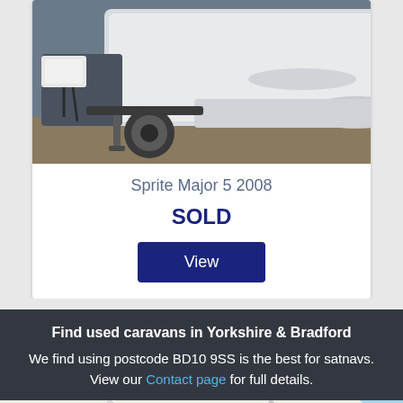[Figure (photo): Close-up photo of the rear/hitch area of a white caravan trailer, showing tow hitch, electrical connections, and back bumper area on a paved surface.]
Sprite Major 5 2008
SOLD
View
Find used caravans in Yorkshire & Bradford
We find using postcode BD10 9SS is the best for satnavs.
View our Contact page for full details.
[Figure (map): Google Maps style street map showing area around Apperley Bridge, Yorkshire. Shows roads, The George pub on Apperley Rd, Hitching Post, Apperley Bridge Marina, and APPERLEY area label. Orange location pins and green marina pin visible.]